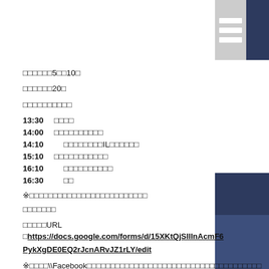[Figure (illustration): Top-right corner decoration with gray and navy blue rectangles with white horizontal lines]
□□□□□□5□□10□
□□□□□□20□
□□□□□□□□□□
13:30　□□□□
14:00　□□□□□□□□□□
14:10　　□□□□□□□□IL□□□□□□
15:10　□□□□□□□□□□□
16:10　　□□□□□□□□□□
16:30　　□□
※□□□□□□□□□□□□□□□□□□□□□□□□□
□□□□□□□
□□□□□URL □https://docs.google.com/forms/d/15XKtQjSlIInAcmF6PykXgDE0EQ2rJcnARvJZ1rLY/edit
※□□□□\\Facebook□□□□□□□□□□□□□□□□□□□□□□□□□□□□□□□□□□□□□
□□□□□□
※□□□□□□□□□□□□□□□□□□□□□
※□□□□□□□□□□□□□□□□□□□□□□□
[Figure (illustration): Bottom-right corner decoration with dark navy and medium navy blue rectangles]